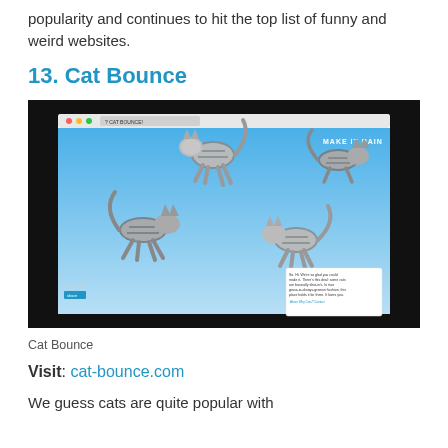popularity and continues to hit the top list of funny and weird websites.
13. Cat Bounce
[Figure (screenshot): Screenshot of the Cat Bounce website showing animated cats bouncing on a black background with a blue sky browser window inset, with 'MAKE IT RAIN' text visible.]
Cat Bounce
Visit: cat-bounce.com
We guess cats are quite popular with